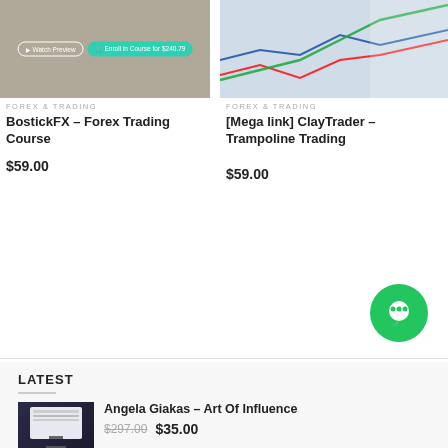[Figure (screenshot): Course thumbnail showing muted video still with Watch Preview and Enroll in Course for $240.79 buttons]
FOREX & TRADING
BostickFX – Forex Trading Course
$59.00
[Figure (screenshot): Course thumbnail showing line chart with green, blue, and red trend lines going upward]
FOREX & TRADING
[Mega link] ClayTrader – Trampoline Trading
$59.00
[Figure (illustration): Green circular chat bubble icon]
LATEST
[Figure (screenshot): Thumbnail showing a computer monitor with a website/course interface]
Angela Giakas – Art Of Influence
$297.00  $35.00